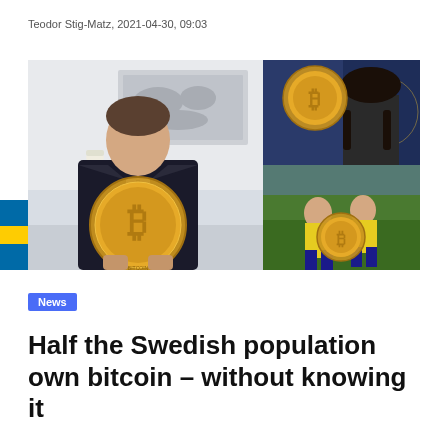Teodor Stig-Matz, 2021-04-30, 09:03
[Figure (photo): Composite image: left side shows a man in a black suit holding a large gold Bitcoin coin in front of a room with a world map on the wall. Top right shows a young woman with braids against a blue background holding a Bitcoin coin. Bottom right shows two soccer players in yellow Swedish jerseys with a Bitcoin coin overlay. A Swedish flag (blue with yellow cross) appears at the bottom center of the composite.]
News
Half the Swedish population own bitcoin – without knowing it